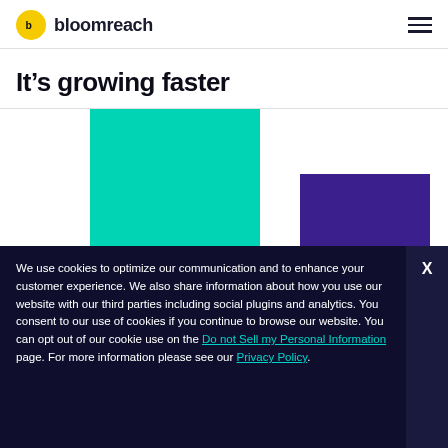bloomreach
It's growing faster
[Figure (bar-chart): It's growing faster]
We use cookies to optimize our communication and to enhance your customer experience. We also share information about how you use our website with our third parties including social plugins and analytics. You consent to our use of cookies if you continue to browse our website. You can opt out of our cookie use on the Do not Sell my Personal Information page. For more information please see our Privacy Policy.